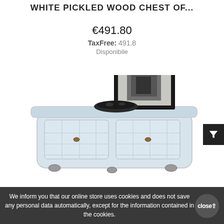WHITE PICKLED WOOD CHEST OF...
€491.80
TaxFree: 491.8
Disponibile
[Figure (photo): White pickled wood chest of drawers with decorative lattice pattern on drawer fronts, dark decorative bowl on top, framed black and white artwork leaning against wall behind. Bombé style chest with ornate brass handles.]
We inform you that our online store uses cookies and does not save any personal data automatically, except for the information contained in the cookies.